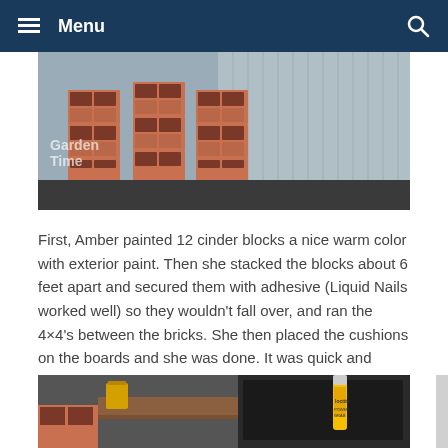Menu
[Figure (photo): Stacked painted cinder blocks forming a DIY outdoor shelf or bench structure, with 'Garden Time' watermark text visible in the lower left. Background shows a corrugated metal wall.]
First, Amber painted 12 cinder blocks a nice warm color with exterior paint. Then she stacked the blocks about 6 feet apart and secured them with adhesive (Liquid Nails worked well) so they wouldn't fall over, and ran the 4×4's between the bricks. She then placed the cushions on the boards and she was done. It was quick and easy. With the colorful cushions and warm paint it looked very cute. For all the materials you need, stop by your local Parr Lumber.
[Figure (photo): Close-up of cinder blocks with a wooden board, a yellow bucket, and a tube of Loctite Power Grab adhesive, showing construction materials for the DIY project.]